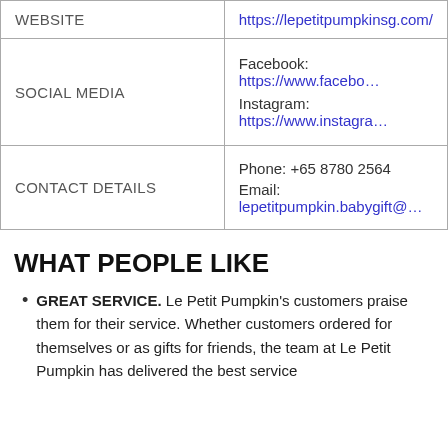|  |  |
| --- | --- |
| WEBSITE | https://lepetitpumpkinsg.com/ |
| SOCIAL MEDIA | Facebook: https://www.facebook…
Instagram: https://www.instagra… |
| CONTACT DETAILS | Phone: +65 8780 2564
Email: lepetitpumpkin.babygift@… |
WHAT PEOPLE LIKE
GREAT SERVICE. Le Petit Pumpkin's customers praise them for their service. Whether customers ordered for themselves or as gifts for friends, the team at Le Petit Pumpkin has delivered the best service